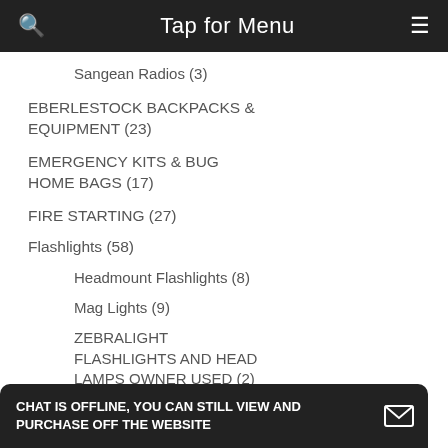Tap for Menu
Sangean Radios (3)
EBERLESTOCK BACKPACKS & EQUIPMENT (23)
EMERGENCY KITS & BUG HOME BAGS (17)
FIRE STARTING (27)
Flashlights (58)
Headmount Flashlights (8)
Mag Lights (9)
ZEBRALIGHT FLASHLIGHTS AND HEAD LAMPS OWNER USED (2)
Kelly Kettles Rocket Stoves
CHAT IS OFFLINE, YOU CAN STILL VIEW AND PURCHASE OFF THE WEBSITE